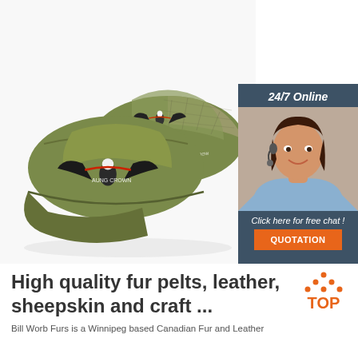[Figure (photo): Two olive green trucker caps with eagle embroidery and 'Aung Crown' text on a white background]
[Figure (illustration): Online chat widget showing a woman with headset, '24/7 Online' header, 'Click here for free chat!' text, and orange QUOTATION button on dark blue-grey background]
High quality fur pelts, leather, sheepskin and craft ...
[Figure (logo): TOP badge logo in orange with dot-triangle above]
Bill Worb Furs is a Winnipeg based Canadian Fur and Leather